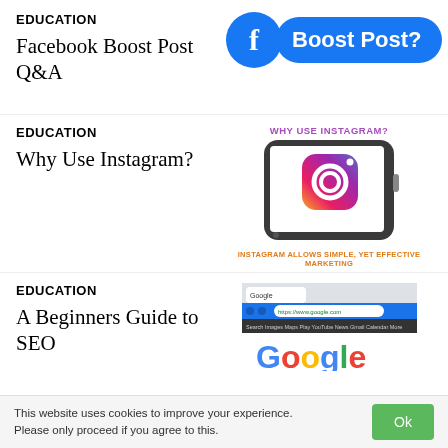EDUCATION
Facebook Boost Post Q&A
[Figure (illustration): Facebook 'Boost Post?' graphic: blue Facebook circle logo beside a blue rounded rectangle button labeled 'Boost Post?']
EDUCATION
Why Use Instagram?
[Figure (illustration): Smartphone displaying Instagram logo with text 'WHY USE INSTAGRAM?' above and 'INSTAGRAM ALLOWS SIMPLE, YET EFFECTIVE MARKETING' below]
EDUCATION
A Beginners Guide to SEO
[Figure (screenshot): Screenshot of Google search homepage showing the Google logo and browser navigation bar]
This website uses cookies to improve your experience. Please only proceed if you agree to this.